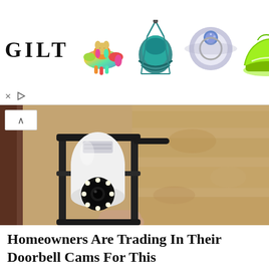[Figure (infographic): GILT advertisement banner with logo and colorful product images: dachshund toy, hanging chairs, gemstone ring, neon sneakers]
[Figure (photo): A security camera disguised as a light bulb installed in a black metal lantern mounted on a textured stone wall. A hand is holding/installing the device.]
Homeowners Are Trading In Their Doorbell Cams For This
Camerca | Sponsored
Learn More
0 SHARES